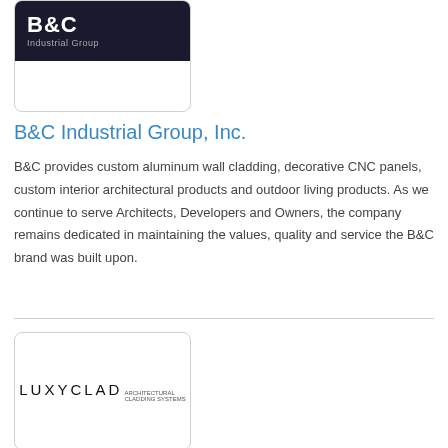[Figure (logo): B&C Industrial Group logo — white bold 'B&C' text and grey 'Industrial Group' text on dark navy/black background, inside a rounded rectangle card]
B&C Industrial Group, Inc.
B&C provides custom aluminum wall cladding, decorative CNC panels, custom interior architectural products and outdoor living products. As we continue to serve Architects, Developers and Owners, the company remains dedicated in maintaining the values, quality and service the B&C brand was built upon.
[Figure (logo): LUXYCLAD logo in black text with small tagline text, inside a rounded rectangle card with light border]